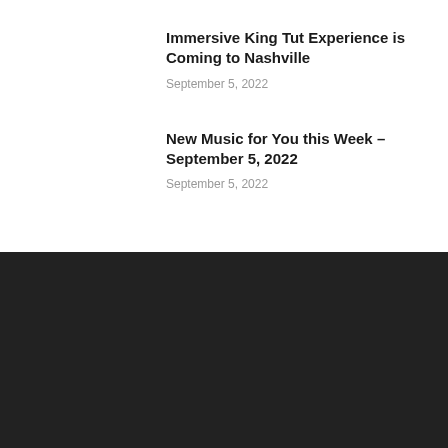Immersive King Tut Experience is Coming to Nashville
September 5, 2022
New Music for You this Week – September 5, 2022
September 5, 2022